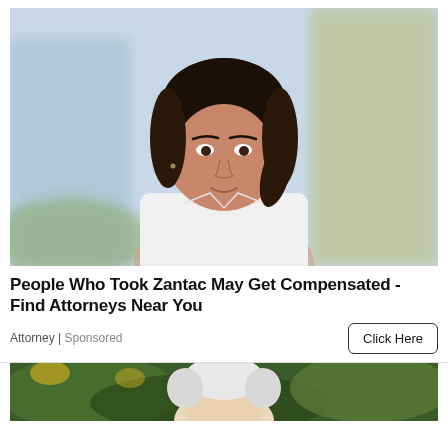[Figure (photo): Portrait photo of a young woman with dark hair pulled back, wearing a white shirt and thin necklace, with blurred urban background]
People Who Took Zantac May Get Compensated - Find Attorneys Near You
Attorney | Sponsored
Click Here
[Figure (photo): Partial photo of an elderly person with white/grey hair outdoors with green foliage background]